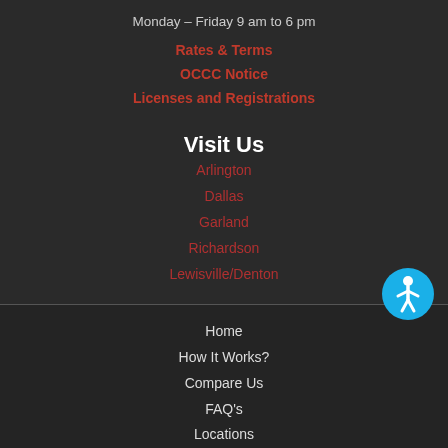Monday – Friday 9 am to 6 pm
Rates & Terms
OCCC Notice
Licenses and Registrations
Visit Us
Arlington
Dallas
Garland
Richardson
Lewisville/Denton
[Figure (illustration): Accessibility icon — blue circle with white person figure]
Home
How It Works?
Compare Us
FAQ's
Locations
Title Loan Buyouts